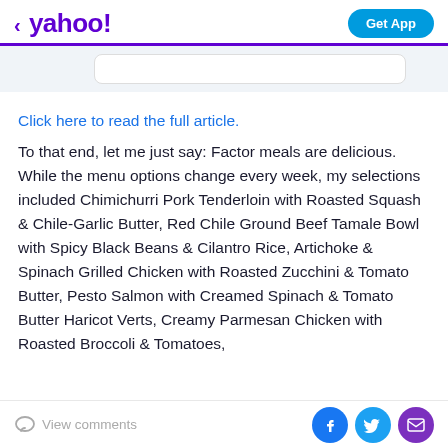yahoo! | Get App
Click here to read the full article.
To that end, let me just say: Factor meals are delicious. While the menu options change every week, my selections included Chimichurri Pork Tenderloin with Roasted Squash & Chile-Garlic Butter, Red Chile Ground Beef Tamale Bowl with Spicy Black Beans & Cilantro Rice, Artichoke & Spinach Grilled Chicken with Roasted Zucchini & Tomato Butter, Pesto Salmon with Creamed Spinach & Tomato Butter Haricot Verts, Creamy Parmesan Chicken with Roasted Broccoli & Tomatoes,
View comments